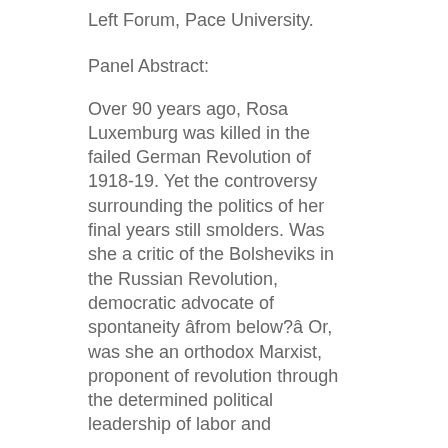Left Forum, Pace University.
Panel Abstract:
Over 90 years ago, Rosa Luxemburg was killed in the failed German Revolution of 1918-19. Yet the controversy surrounding the politics of her final years still smolders. Was she a critic of the Bolsheviks in the Russian Revolution, democratic advocate of spontaneity âfrom below?â Or, was she an orthodox Marxist, proponent of revolution through the determined political leadership of labor and